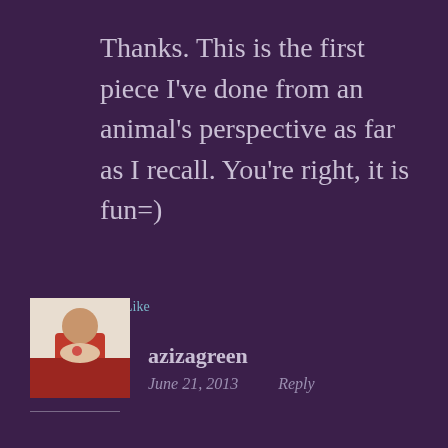Thanks. This is the first piece I've done from an animal's perspective as far as I recall. You're right, it is fun=)
★ Like
[Figure (photo): Small square avatar photo of a person drinking from a mug, wearing a red outfit]
azizagreen
June 21, 2013   Reply